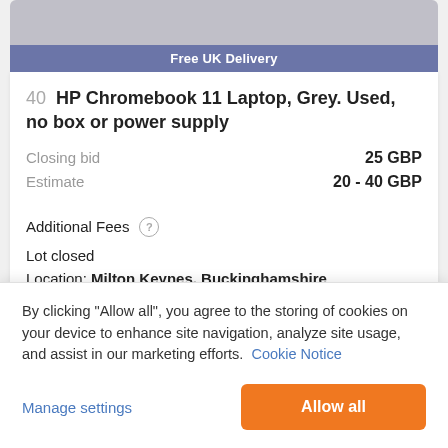[Figure (photo): Top portion of a laptop (HP Chromebook) photo with a blue-purple 'Free UK Delivery' banner at the bottom]
40  HP Chromebook 11 Laptop, Grey. Used, no box or power supply
Closing bid   25 GBP
Estimate   20 - 40 GBP
Additional Fees (?)
Lot closed
Location: Milton Keynes, Buckinghamshire
By clicking “Allow all”, you agree to the storing of cookies on your device to enhance site navigation, analyze site usage, and assist in our marketing efforts.  Cookie Notice
Manage settings
Allow all